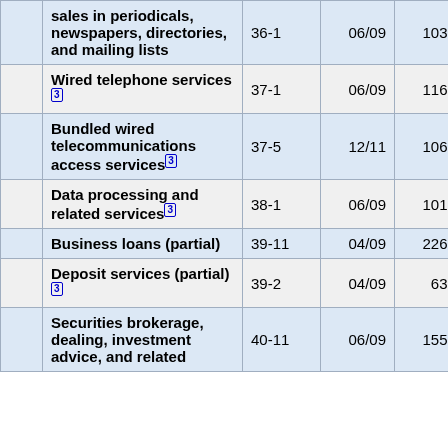|  | Item | Series ID | Availability | Col1 | Col2 | Col3 |
| --- | --- | --- | --- | --- | --- | --- |
|  | sales in periodicals, newspapers, directories, and mailing lists | 36-1 | 06/09 | 103.4 | 103.3 | 1 |
|  | Wired telephone services(3) | 37-1 | 06/09 | 116.7 | 116.9 | 1 |
|  | Bundled wired telecommunications access services(3) | 37-5 | 12/11 | 106.0 | 108.0 | 1 |
|  | Data processing and related services(3) | 38-1 | 06/09 | 101.3 | 101.3 | 1 |
|  | Business loans (partial) | 39-11 | 04/09 | 226.9 | 231.1 | 2 |
|  | Deposit services (partial)(3) | 39-2 | 04/09 | 63.8 | 65.4 |  |
|  | Securities brokerage, dealing, investment advice, and related | 40-11 | 06/09 | 155.2 | 156.8 | 1 |